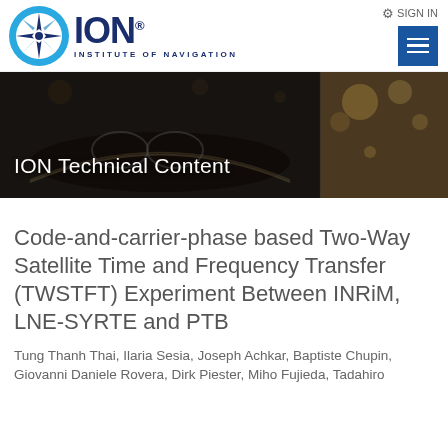[Figure (logo): ION Institute of Navigation logo with circular star compass emblem and text]
SIGN IN
[Figure (other): Blue hamburger menu button with three white horizontal lines]
[Figure (photo): Banner image showing open books and library with bokeh lighting in dark overlay, with text 'ION Technical Content']
Code-and-carrier-phase based Two-Way Satellite Time and Frequency Transfer (TWSTFT) Experiment Between INRiM, LNE-SYRTE and PTB
Tung Thanh Thai, Ilaria Sesia, Joseph Achkar, Baptiste Chupin, Giovanni Daniele Rovera, Dirk Piester, Miho Fujieda, Tadahiro